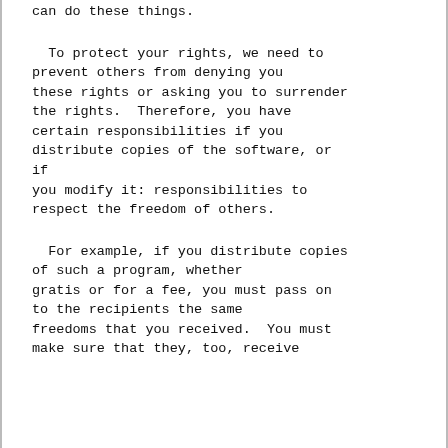can do these things.
To protect your rights, we need to prevent others from denying you these rights or asking you to surrender the rights.  Therefore, you have certain responsibilities if you distribute copies of the software, or if you modify it: responsibilities to respect the freedom of others.
For example, if you distribute copies of such a program, whether gratis or for a fee, you must pass on to the recipients the same freedoms that you received.  You must make sure that they, too, receive